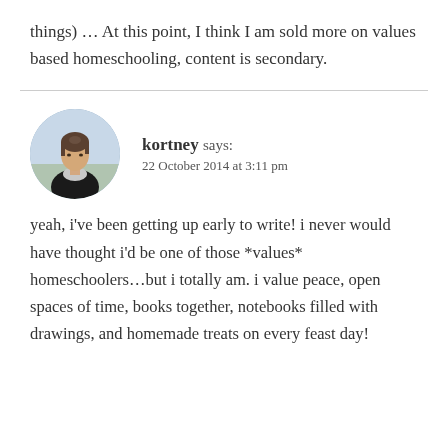things) … At this point, I think I am sold more on values based homeschooling, content is secondary.
kortney says:
22 October 2014 at 3:11 pm
[Figure (photo): Circular avatar photo of a woman named kortney]
yeah, i've been getting up early to write! i never would have thought i'd be one of those *values* homeschoolers…but i totally am. i value peace, open spaces of time, books together, notebooks filled with drawings, and homemade treats on every feast day!